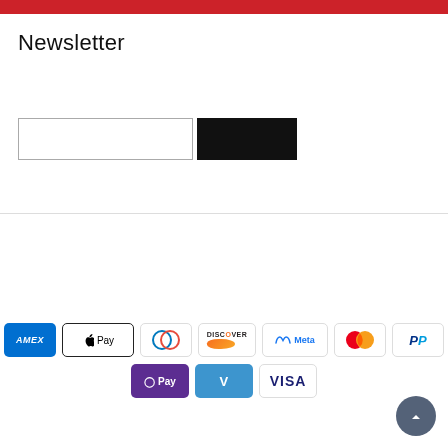Newsletter
[Figure (other): Email subscription form with text input field and dark subscribe button]
[Figure (other): Payment method icons: American Express, Apple Pay, Diners Club, Discover, Meta Pay, Mastercard, PayPal, OPay, Venmo, Visa]